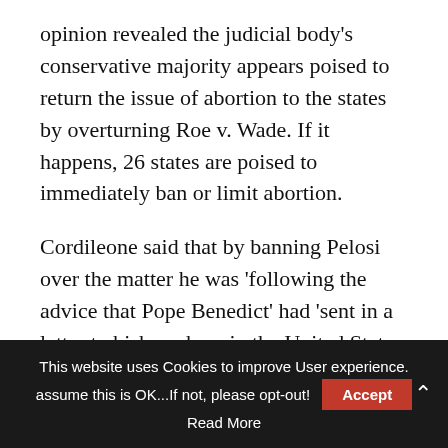opinion revealed the judicial body's conservative majority appears poised to return the issue of abortion to the states by overturning Roe v. Wade. If it happens, 26 states are poised to immediately ban or limit abortion.
Cordileone said that by banning Pelosi over the matter he was 'following the advice that Pope Benedict' had 'sent in a letter to bishops here in the United States back in 2004.'
'He gave us advice on how to approach this, specifically with politicians, Catholic politicians, and specifically on the two issues of abortion and
This website uses Cookies to improve User experience. assume this is OK...If not, please opt-out! Accept
Read More